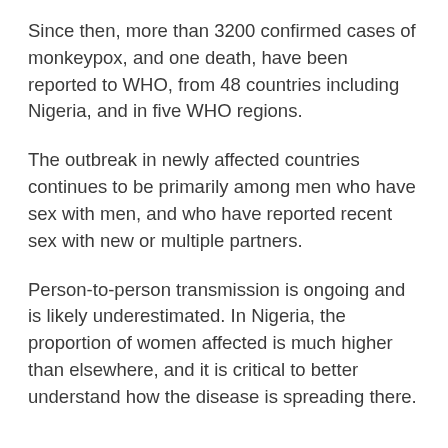Since then, more than 3200 confirmed cases of monkeypox, and one death, have been reported to WHO, from 48 countries including Nigeria, and in five WHO regions.
The outbreak in newly affected countries continues to be primarily among men who have sex with men, and who have reported recent sex with new or multiple partners.
Person-to-person transmission is ongoing and is likely underestimated. In Nigeria, the proportion of women affected is much higher than elsewhere, and it is critical to better understand how the disease is spreading there.